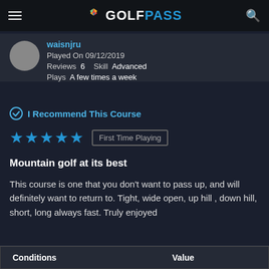GOLFPASS
waisnjru
Played On 09/12/2019
Reviews 6  Skill Advanced
Plays A few times a week
I Recommend This Course
★★★★★  First Time Playing
Mountain golf at its best
This course is one that you don't want to pass up, and will definitely want to return to. Tight, wide open, up hill , down hill, short, long always fast. Truly enjoyed
| Conditions | Value |
| --- | --- |